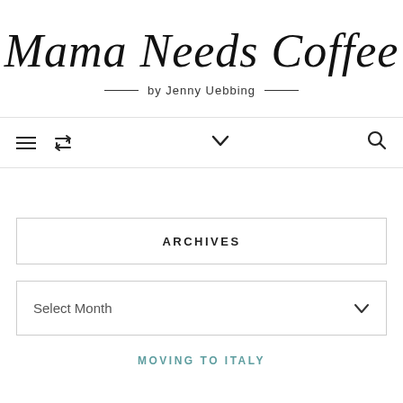Mama Needs Coffee
by Jenny Uebbing
[Figure (other): Navigation bar with hamburger menu icon, retweet/refresh icon, chevron down icon in center, and search magnifying glass icon on right]
ARCHIVES
Select Month
MOVING TO ITALY